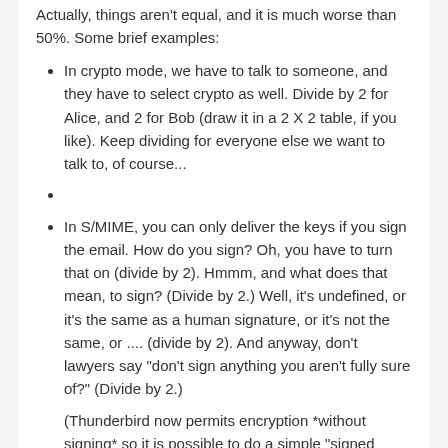Actually, things aren't equal, and it is much worse than 50%. Some brief examples:
In crypto mode, we have to talk to someone, and they have to select crypto as well. Divide by 2 for Alice, and 2 for Bob (draw it in a 2 X 2 table, if you like). Keep dividing for everyone else we want to talk to, of course...
In S/MIME, you can only deliver the keys if you sign the email. How do you sign? Oh, you have to turn that on (divide by 2). Hmmm, and what does that mean, to sign? (Divide by 2.) Well, it's undefined, or it's the same as a human signature, or it's not the same, or .... (divide by 2). And anyway, don't lawyers say "don't sign anything you aren't fully sure of?" (Divide by 2.)
(Thunderbird now permits encryption *without signing* so it is possible to do a simple "signed nonsense message" to send your key, and avoid the trauma of the above paragraph. This is a big win, as before it was unprofessional and potentially dangerous to recommend S/MIME.)
But you'd still be out of a certificate, and they still...